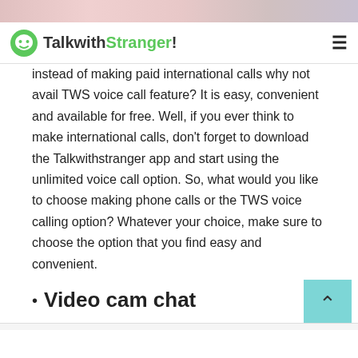TalkwithStranger!
instead of making paid international calls why not avail TWS voice call feature? It is easy, convenient and available for free. Well, if you ever think to make international calls, don't forget to download the Talkwithstranger app and start using the unlimited voice call option. So, what would you like to choose making phone calls or the TWS voice calling option? Whatever your choice, make sure to choose the option that you find easy and convenient.
Video cam chat
[Figure (screenshot): Frontgate advertisement banner: Outdoor Furniture | Bedding. 25% off site wide sale going on now at Frontgate.com. frontgate.com]